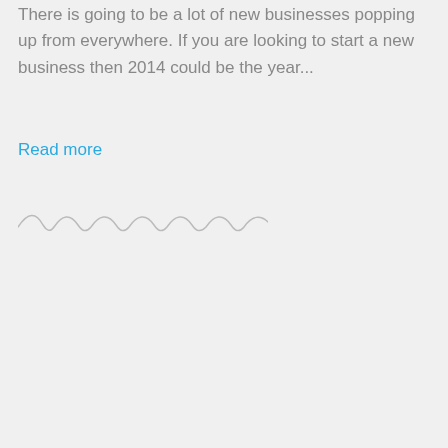There is going to be a lot of new businesses popping up from everywhere. If you are looking to start a new business then 2014 could be the year...
Read more
[Figure (illustration): Wavy decorative divider line]
[Figure (other): Pagination buttons: 1 (active, blue circle), 2, 3, and a next arrow (>), all in circles]